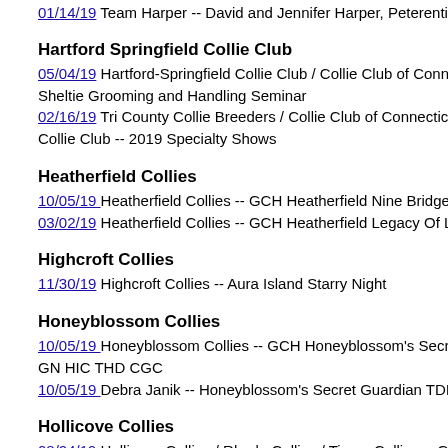Team Harper -- David and Jennifer Harper, Peterential Har...
Hartford Springfield Collie Club
05/04/19 Hartford-Springfield Collie Club / Collie Club of Connecticut -- Sheltie Grooming and Handling Seminar
02/16/19 Tri County Collie Breeders / Collie Club of Connecticut / Har... Collie Club -- 2019 Specialty Shows
Heatherfield Collies
10/05/19 Heatherfield Collies -- GCH Heatherfield Nine Bridges Blum...
03/02/19 Heatherfield Collies -- GCH Heatherfield Legacy Of Love
Highcroft Collies
11/30/19 Highcroft Collies -- Aura Island Starry Night
Honeyblossom Collies
10/05/19 Honeyblossom Collies -- GCH Honeyblossom's Secret Agen... GN HIC THD CGC
10/05/19 Debra Janik -- Honeyblossom's Secret Guardian TDI RE HI...
Hollicove Collies
08/24/19 Hollicove Collies / Rhode Collies / Tiamo Collies -- GCHB C... And Honey